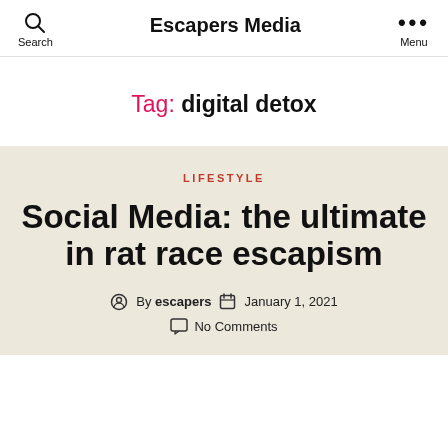Search | Escapers Media | Menu
Tag: digital detox
LIFESTYLE
Social Media: the ultimate in rat race escapism
By escapers  January 1, 2021  No Comments